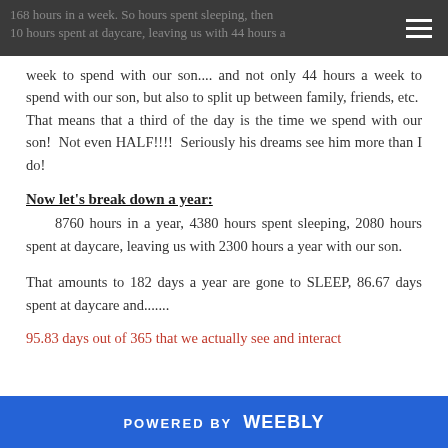168 hours in a week. So hours spent sleeping, then 10 hours spent at daycare, leaving us with 44 hours a week to spend with our son....
week to spend with our son.... and not only 44 hours a week to spend with our son, but also to split up between family, friends, etc. That means that a third of the day is the time we spend with our son! Not even HALF!!!! Seriously his dreams see him more than I do!
Now let's break down a year:
8760 hours in a year, 4380 hours spent sleeping, 2080 hours spent at daycare, leaving us with 2300 hours a year with our son.
That amounts to 182 days a year are gone to SLEEP, 86.67 days spent at daycare and.......
95.83 days out of 365 that we actually see and interact
POWERED BY weebly